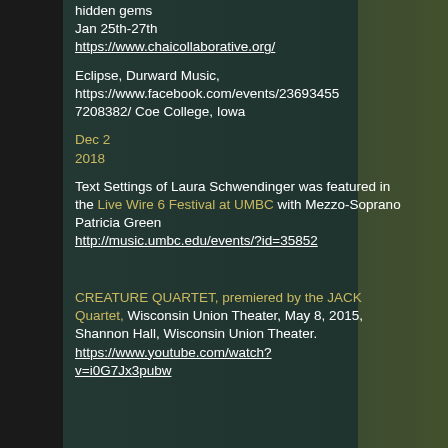hidden gems
Jan 25th-27th
https://www.chaicollaborative.org/
Eclipse, Durward Music, https://www.facebook.com/events/236934557208382/ Coe College, Iowa
Dec 2
2018
Text Settings of Laura Schwendinger was featured in the Live Wire 6 Festival at UMBC with Mezzo-Soprano Patricia Green
http://music.umbc.edu/events/?id=35852
CREATURE QUARTET, premiered by the JACK Quartet, Wisconsin Union Theater, May 8, 2015, Shannon Hall, Wisconsin Union Theater.
https://www.youtube.com/watch?v=i0G7Jx3pubw